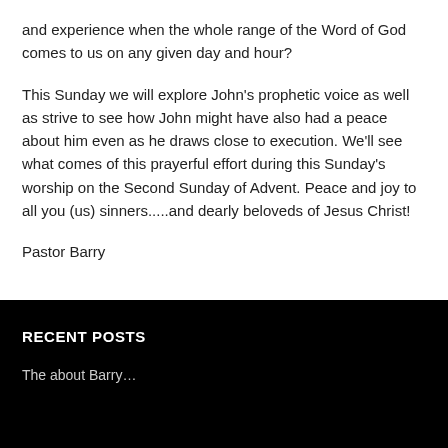and experience when the whole range of the Word of God comes to us on any given day and hour?
This Sunday we will explore John's prophetic voice as well as strive to see how John might have also had a peace about him even as he draws close to execution. We'll see what comes of this prayerful effort during this Sunday's worship on the Second Sunday of Advent. Peace and joy to all you (us) sinners.....and dearly beloveds of Jesus Christ!
Pastor Barry
RECENT POSTS
The about Barry...